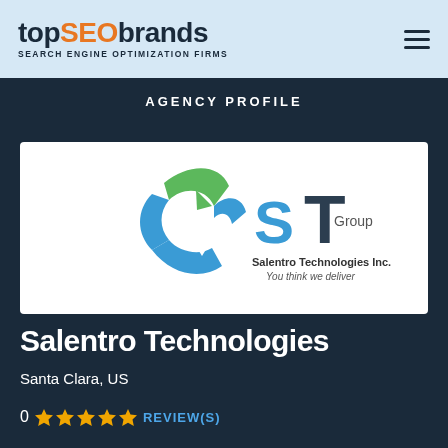topSEObrands — SEARCH ENGINE OPTIMIZATION FIRMS
AGENCY PROFILE
[Figure (logo): Salentro Technologies Inc. / ST Group logo — a 3D triangular swirl in green, blue, and white, alongside blue 'ST' letters and 'Group / Salentro Technologies Inc. / You think we deliver' text]
Salentro Technologies
Santa Clara, US
0 ★★★★★ REVIEW(S)